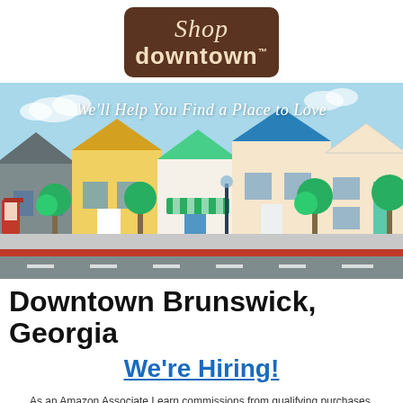[Figure (logo): Shop Downtown logo — brown rounded rectangle with 'Shop' in cream italic script and 'downtown' in cream bold text with TM mark]
[Figure (illustration): Cartoon illustration of a downtown street scene with colorful storefronts, trees, sidewalks, and a road. Text overlay: 'We'll Help You Find a Place to Love']
Downtown Brunswick, Georgia
We're Hiring!
As an Amazon Associate I earn commissions from qualifying purchases.